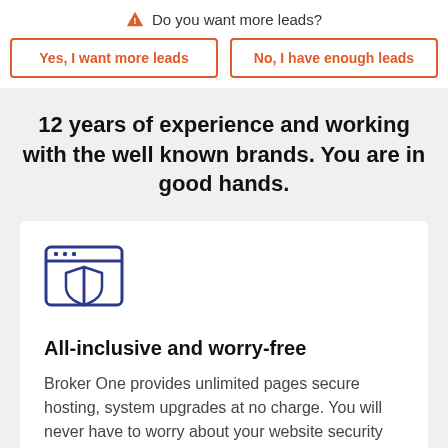Do you want more leads?
Yes, I want more leads
No, I have enough leads
12 years of experience and working with the well known brands. You are in good hands.
[Figure (illustration): Browser window icon with a shield/privacy symbol in dark blue]
All-inclusive and worry-free
Broker One provides unlimited pages secure hosting, system upgrades at no charge. You will never have to worry about your website security ever again.